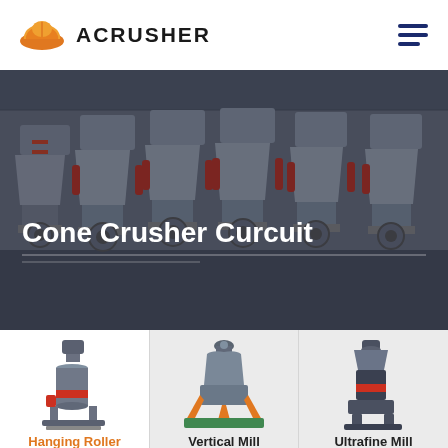[Figure (logo): Acrusher logo: orange hard-hat icon with mining helmet shape, and text ACRUSHER in bold uppercase]
[Figure (photo): Industrial factory floor showing rows of large cone crusher machines in grey/silver finish with hydraulic cylinders, inside a large manufacturing building]
Cone Crusher Curcuit
[Figure (photo): Hanging Roller Mill machine illustration - tall vertical grinding mill with red accent, grey body]
Hanging Roller Mill
[Figure (photo): Vertical Mill machine illustration - large conical grinding mill with orange/green accents]
Vertical Mill
[Figure (photo): Ultrafine Mill machine illustration - compact grinding mill with dark body and red accent]
Ultrafine Mill